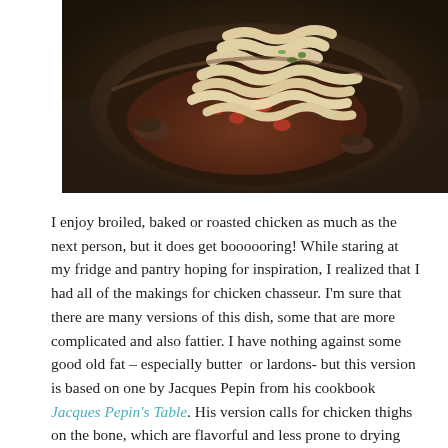[Figure (photo): Overhead photo of a dark ceramic bowl containing wide egg noodles (pappardelle) topped with a rich brown chicken chasseur sauce with tomatoes, mushrooms, and herbs.]
I enjoy broiled, baked or roasted chicken as much as the next person, but it does get boooooring! While staring at my fridge and pantry hoping for inspiration, I realized that I had all of the makings for chicken chasseur. I'm sure that there are many versions of this dish, some that are more complicated and also fattier. I have nothing against some good old fat – especially butter  or lardons- but this version is based on one by Jacques Pepin from his cookbook Jacques Pepin's Table. His version calls for chicken thighs on the bone, which are flavorful and less prone to drying out than the breast meat;